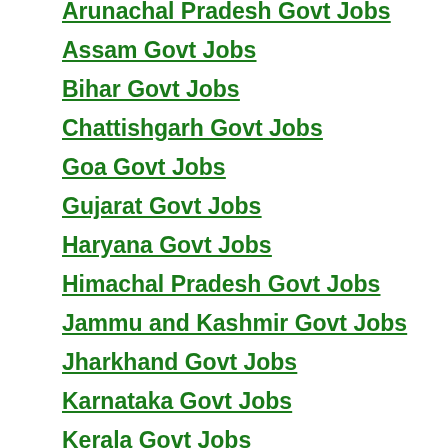Arunachal Pradesh Govt Jobs
Assam Govt Jobs
Bihar Govt Jobs
Chattishgarh Govt Jobs
Goa Govt Jobs
Gujarat Govt Jobs
Haryana Govt Jobs
Himachal Pradesh Govt Jobs
Jammu and Kashmir Govt Jobs
Jharkhand Govt Jobs
Karnataka Govt Jobs
Kerala Govt Jobs
Madhya Pradesh Govt Jobs